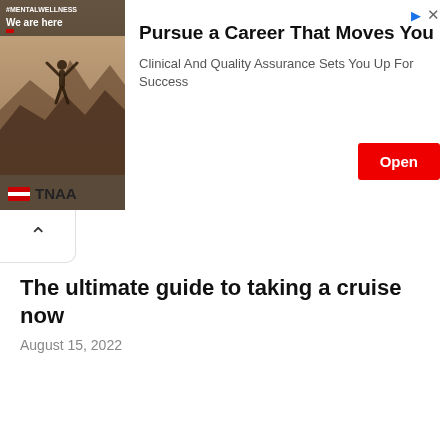[Figure (screenshot): Advertisement banner for TNAA (Travel Nurse Across America) with a photo showing a person with arms raised on a rocky mountain landscape, overlaid text '#MENTALWELLNESS We are here'. Brand logo with red flag icon and TNAA text below the image.]
Pursue a Career That Moves You
Clinical And Quality Assurance Sets You Up For Success
Open
The ultimate guide to taking a cruise now
August 15, 2022